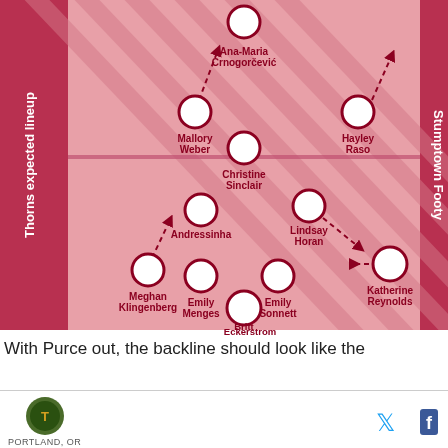[Figure (other): Soccer/football formation diagram showing Portland Thorns expected lineup on a pink/red striped pitch background. Players shown as circles with names: Ana-Maria Crnogorčević (forward), Mallory Weber (forward), Hayley Raso (forward), Christine Sinclair (attacking mid), Andressinha (mid), Lindsay Horan (mid), Meghan Klingenberg (defender), Emily Menges (defender), Emily Sonnett (defender), Katherine Reynolds (defender), Britt Eckerstrom (goalkeeper). Vertical text on left reads 'Thorns expected lineup'. Vertical text on right reads 'Stumptown Footy'. Dashed arrows show player movement.]
With Purce out, the backline should look like the
[Figure (logo): Round green and gold Portland Thorns / MLS logo]
PORTLAND, OR